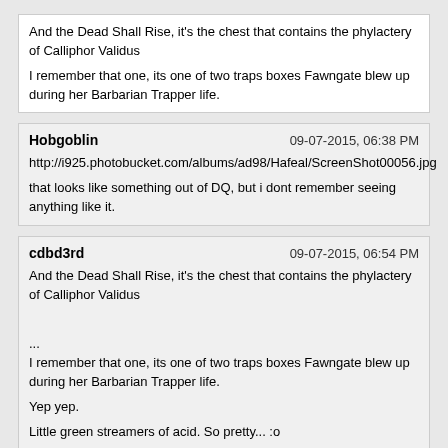And the Dead Shall Rise, it's the chest that contains the phylactery of Calliphor Validus

I remember that one, its one of two traps boxes Fawngate blew up during her Barbarian Trapper life.
Hobgoblin	09-07-2015, 06:38 PM
http://i925.photobucket.com/albums/ad98/Hafeal/ScreenShot00056.jpg
that looks like something out of DQ, but i dont remember seeing anything like it.
cdbd3rd	09-07-2015, 06:54 PM
And the Dead Shall Rise, it's the chest that contains the phylactery of Calliphor Validus

...
I remember that one, its one of two traps boxes Fawngate blew up during her Barbarian Trapper life.

Yep yep.

Little green streamers of acid. So pretty... :o
Nonesuch2008	09-07-2015, 07:20 PM
http://i925.photobucket.com/albums/ad98/Hafeal/ScreenShot00056.jpg
Man, you have really upped the ante on this one...